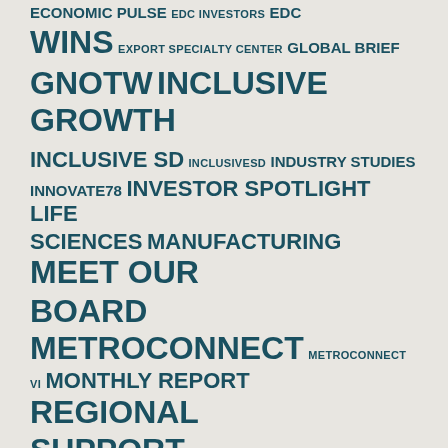ECONOMIC PULSE EDC INVESTORS EDC WINS EXPORT SPECIALTY CENTER GLOBAL BRIEF GNOTW INCLUSIVE GROWTH INCLUSIVE SD INCLUSIVESD INDUSTRY STUDIES INNOVATE78 INVESTOR SPOTLIGHT LIFE SCIENCES MANUFACTURING MEET OUR BOARD METROCONNECT METROCONNECT VI MONTHLY REPORT REGIONAL SUPPORT REGIONAL SUPPORT Q1 2021 REGIONAL SUPPORT Q3 2020 REGIONAL SUPPORT Q4 2020 RESEARCH RESEARCH PRODUCT RESEARCH PRODUCTS RESEARCH Q3 2020 RESOURCES SAN DIEGO: LIFE. CHANGING. SOFTWARE TALENT THE RIGHT